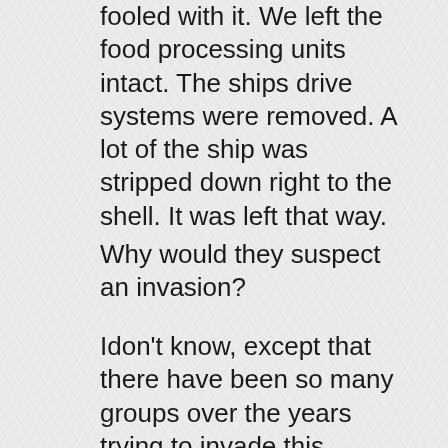fooled with it. We left the food processing units intact. The ships drive systems were removed. A lot of the ship was stripped down right to the shell. It was left that way.
Why would they suspect an invasion?
Idon't know, except that there have been so many groups over the years trying to invade this planet. One